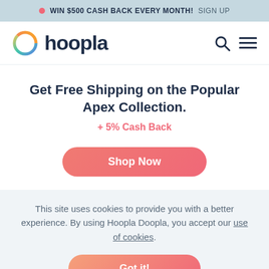WIN $500 CASH BACK EVERY MONTH! SIGN UP
[Figure (logo): Hoopla logo with colorful ring icon and dark blue 'hoopla' wordmark, plus search and hamburger menu icons]
Get Free Shipping on the Popular Apex Collection.
+ 5% Cash Back
Shop Now
This site uses cookies to provide you with a better experience. By using Hoopla Doopla, you accept our use of cookies.
Got it!